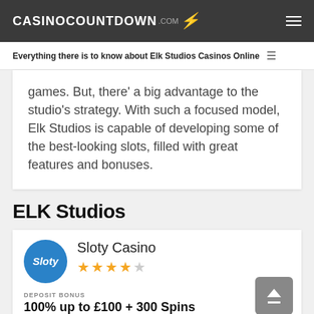CASINOCOUNTDOWN .COM
Everything there is to know about Elk Studios Casinos Online
games. But, there' a big advantage to the studio's strategy. With such a focused model, Elk Studios is capable of developing some of the best-looking slots, filled with great features and bonuses.
ELK Studios
Sloty Casino
★★★★☆
DEPOSIT BONUS
100% up to £100 + 300 Spins